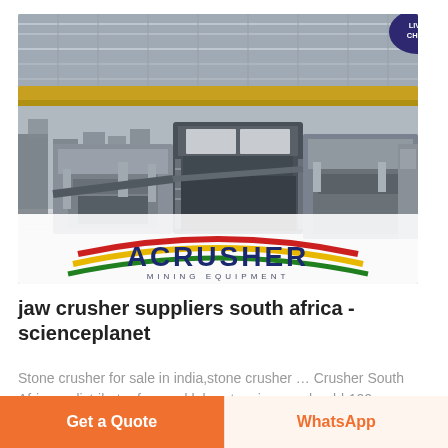[Figure (photo): Interior of a large industrial factory/warehouse showing heavy mining equipment (crushers and conveyor systems) lined up on a factory floor, with steel roof trusses and overhead cranes visible. A 'LIVE CHAT' speech bubble icon appears in the top-right corner. The ACRUSHER MINING EQUIPMENT logo is overlaid at the bottom of the image.]
jaw crusher suppliers south africa - scienceplanet
Stone crusher for sale in india,stone crusher … Crusher South Africa… distributor for used laboratory jaw crusher bb100: